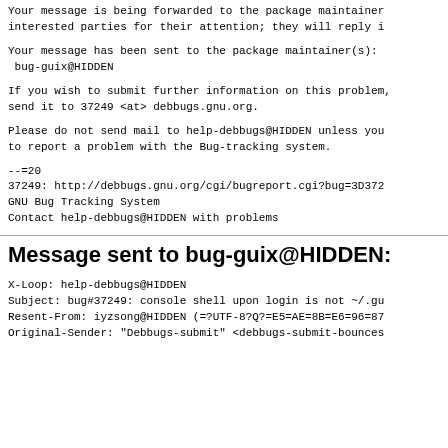Your message is being forwarded to the package maintainer and other interested parties for their attention; they will reply i
Your message has been sent to the package maintainer(s):
 bug-guix@HIDDEN
If you wish to submit further information on this problem,
send it to 37249 <at> debbugs.gnu.org.
Please do not send mail to help-debbugs@HIDDEN unless you
to report a problem with the Bug-tracking system.
--=20
37249: http://debbugs.gnu.org/cgi/bugreport.cgi?bug=3D372
GNU Bug Tracking System
Contact help-debbugs@HIDDEN with problems
Message sent to bug-guix@HIDDEN:
X-Loop: help-debbugs@HIDDEN
Subject: bug#37249: console shell upon login is not ~/.gu
Resent-From: iyzsong@HIDDEN (=?UTF-8?Q?=E5=AE=8B=E6=96=87=87
Original-Sender: "Debbugs-submit" <debbugs-submit-bounces